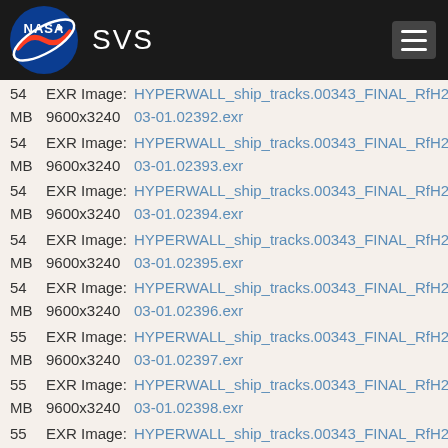[Figure (logo): NASA SVS website header with NASA logo and SVS text on dark background with hamburger menu]
54  EXR Image:  HYPERWALL_ship_tracks.00343_FINAL_RfH24.3... MB  9600x3240  03-01.02392.exr
54  EXR Image:  HYPERWALL_ship_tracks.00343_FINAL_RfH24.3... MB  9600x3240  03-01.02393.exr
54  EXR Image:  HYPERWALL_ship_tracks.00343_FINAL_RfH24.3... MB  9600x3240  03-01.02394.exr
54  EXR Image:  HYPERWALL_ship_tracks.00343_FINAL_RfH24.3... MB  9600x3240  03-01.02395.exr
54  EXR Image:  HYPERWALL_ship_tracks.00343_FINAL_RfH24.3... MB  9600x3240  03-01.02396.exr
55  EXR Image:  HYPERWALL_ship_tracks.00343_FINAL_RfH24.3... MB  9600x3240  03-01.02397.exr
55  EXR Image:  HYPERWALL_ship_tracks.00343_FINAL_RfH24.3... MB  9600x3240  03-01.02398.exr
55  EXR Image:  HYPERWALL_ship_tracks.00343_FINAL_RfH24.3... MB  9600x3240  03-01.02399.exr
55  EXR Image:  HYPERWALL_ship_tracks.00343_FINAL_RfH24.3... MB  9600x3240  03-01.02400.exr
55  EXR Image:  HYPERWALL_ship_tracks.00343_FINAL_RfH24.3... MB  9600x3240  03-01.02401.exr